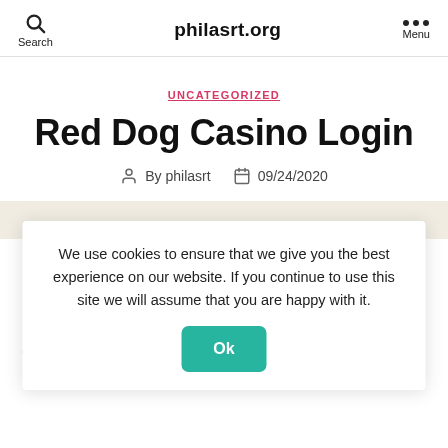philasrt.org | Search | Menu
UNCATEGORIZED
Red Dog Casino Login
By philasrt   09/24/2020
We use cookies to ensure that we give you the best experience on our website. If you continue to use this site we will assume that you are happy with it.